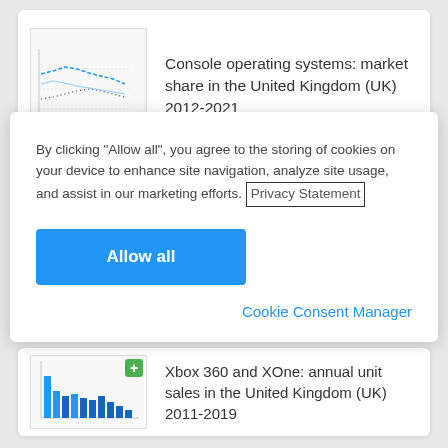[Figure (screenshot): Thumbnail of a line chart showing console operating systems market share data]
Console operating systems: market share in the United Kingdom (UK) 2012-2021
By clicking “Allow all”, you agree to the storing of cookies on your device to enhance site navigation, analyze site usage, and assist in our marketing efforts. Privacy Statement
Allow all
Cookie Consent Manager
2018
[Figure (screenshot): Thumbnail of a bar chart showing Xbox 360 and XOne annual unit sales data]
Xbox 360 and XOne: annual unit sales in the United Kingdom (UK) 2011-2019